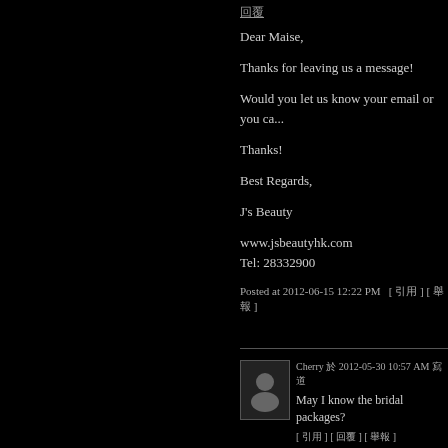回覆
Dear Maise,

Thanks for leaving us a message!

Would you let us know your email or you ca...

Thanks!

Best Regards,

J's Beauty

www.jsbeautyhk.com
Tel: 28332900
Posted at 2012-06-15 12:22 PM  [ 引用 ] [ 舉報 ]
Cherry 於 2012-05-30 10:57 AM 寫道
May I know the bridal packages?
[ 引用 ] [ 回覆 ] [ 舉報 ]